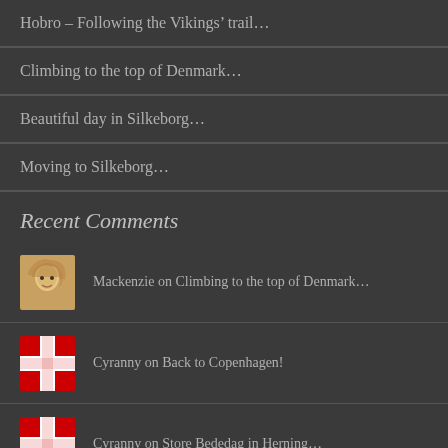Hobro – Following the Vikings' trail…
Climbing to the top of Denmark…
Beautiful day in Silkeborg…
Moving to Silkeborg…
Recent Comments
Mackenzie on Climbing to the top of Denmark…
Cyranny on Back to Copenhagen!
Cyranny on Store Bededag in Herning…
Joshline DuBerger on Store Bededag in Herning…